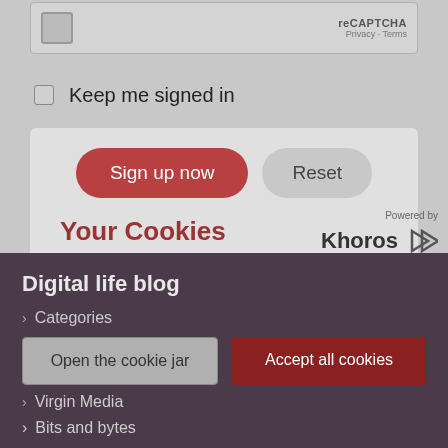[Figure (screenshot): reCAPTCHA widget box with privacy and terms links]
Keep me signed in
[Figure (screenshot): Sign up now and Reset buttons in a form panel]
Your Cookies
We use cookies to give you the best browsing experience, to create content, ads and offers personalised to you and to analyse our use. Sometimes we share cookie data with our social media, advertising and analytics partners. To change your settings and manage any non-essential cookies please open the cookie jar. For more information please visit our Cookie Policy
[Figure (logo): Powered by Khoros logo]
Digital life blog
Categories
Virgin Media
Open the cookie jar
Accept all cookies
Bits and bytes